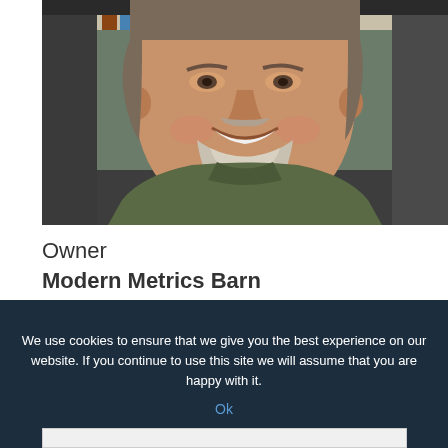[Figure (photo): Close-up photo of a middle-aged man with grey beard and mustache, smiling, wearing a green shirt, with bookshelves visible in the background.]
Owner
Modern Metrics Barn
VIEW PROFILE
We use cookies to ensure that we give you the best experience on our website. If you continue to use this site we will assume that you are happy with it.
Ok